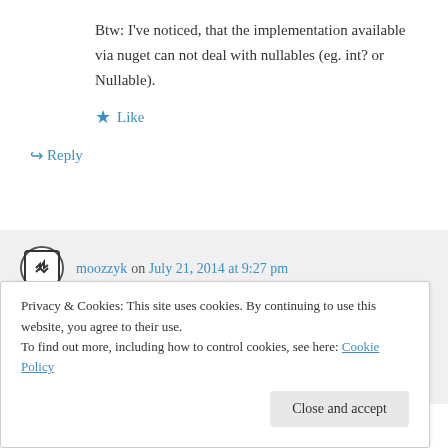Btw: I've noticed, that the implementation available via nuget can not deal with nullables (eg. int? or Nullable).
Like
Reply
moozzyk on July 21, 2014 at 9:27 pm
2192 was fixed on the EF side and was included in EF 6.1.1. Implementing custom
feedback, I will consider adding custom
Privacy & Cookies: This site uses cookies. By continuing to use this website, you agree to their use.
To find out more, including how to control cookies, see here: Cookie Policy
Close and accept